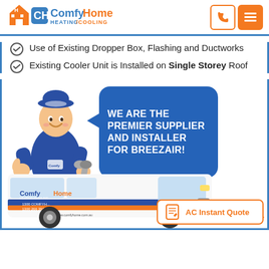[Figure (logo): ComfyHome Heating Cooling logo with house icon]
[Figure (illustration): Phone and menu icons (orange bordered buttons)]
Use of Existing Dropper Box, Flashing and Ductworks
Existing Cooler Unit is Installed on Single Storey Roof
[Figure (illustration): Cartoon technician in blue uniform giving thumbs up and holding a wrench, with a blue speech bubble saying WE ARE THE PREMIER SUPPLIER AND INSTALLER FOR BREEZAIR!, and a white van with ComfyHome branding and Breezair logo below]
[Figure (other): AC Instant Quote button with orange border and notepad icon]